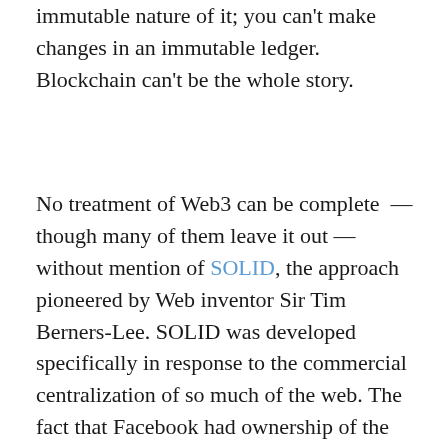immutable nature of it; you can't make changes in an immutable ledger. Blockchain can't be the whole story.
No treatment of Web3 can be complete — though many of them leave it out — without mention of SOLID, the approach pioneered by Web inventor Sir Tim Berners-Lee. SOLID was developed specifically in response to the commercial centralization of so much of the web. The fact that Facebook had ownership of the data required for the Cambridge Analytica fiasco was